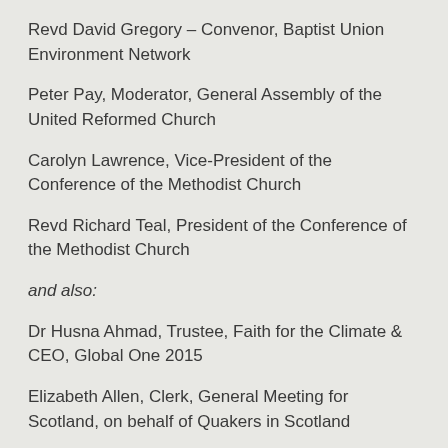Revd David Gregory – Convenor, Baptist Union Environment Network
Peter Pay, Moderator, General Assembly of the United Reformed Church
Carolyn Lawrence, Vice-President of the Conference of the Methodist Church
Revd Richard Teal, President of the Conference of the Methodist Church
and also:
Dr Husna Ahmad, Trustee, Faith for the Climate & CEO, Global One 2015
Elizabeth Allen, Clerk, General Meeting for Scotland, on behalf of Quakers in Scotland